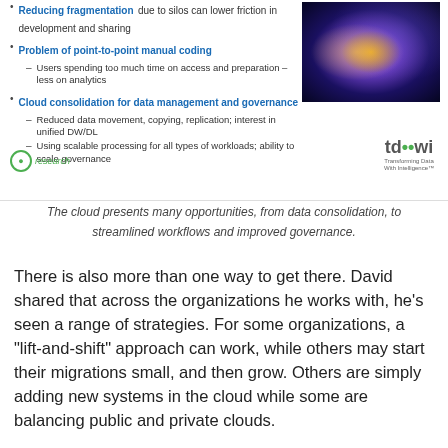Reducing fragmentation due to silos can lower friction in development and sharing
Problem of point-to-point manual coding
– Users spending too much time on access and preparation – less on analytics
Cloud consolidation for data management and governance
– Reduced data movement, copying, replication; interest in unified DW/DL
– Using scalable processing for all types of workloads; ability to scale governance
[Figure (photo): Galaxy/space swirl photograph with purple and gold hues]
The cloud presents many opportunities, from data consolidation, to streamlined workflows and improved governance.
There is also more than one way to get there. David shared that across the organizations he works with, he's seen a range of strategies. For some organizations, a "lift-and-shift" approach can work, while others may start their migrations small, and then grow. Others are simply adding new systems in the cloud while some are balancing public and private clouds.